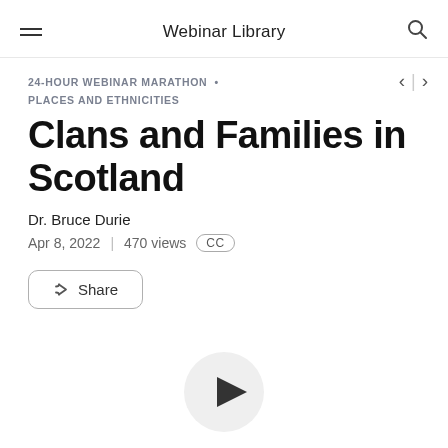Webinar Library
24-HOUR WEBINAR MARATHON • PLACES AND ETHNICITIES
Clans and Families in Scotland
Dr. Bruce Durie
Apr 8, 2022  |  470 views  CC
Share